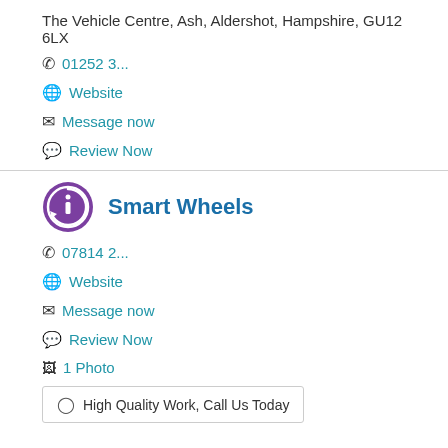The Vehicle Centre, Ash, Aldershot, Hampshire, GU12 6LX
📞 01252 3...
🌐 Website
✉ Message now
💬 Review Now
[Figure (logo): Smart Wheels logo: purple circular badge with 'i' icon and two circular arrow rings]
Smart Wheels
📞 07814 2...
🌐 Website
✉ Message now
💬 Review Now
🖼 1 Photo
High Quality Work, Call Us Today